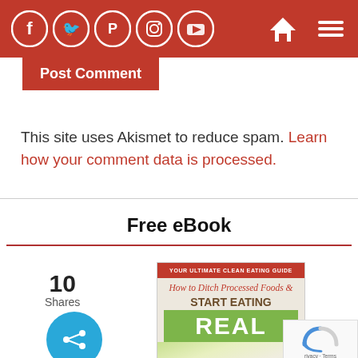[Figure (screenshot): Red navigation bar with social media icons (Facebook, Twitter, Pinterest, Instagram, YouTube) on the left and home/menu icons on the right]
[Figure (other): Red 'Post Comment' button]
This site uses Akismet to reduce spam. Learn how your comment data is processed.
Free eBook
10 Shares
[Figure (illustration): eBook cover: 'Your Ultimate Clean Eating Guide - How to Ditch Processed Foods & Start Eating REAL' with food imagery]